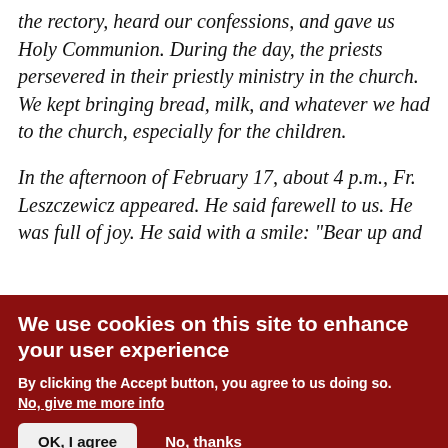On Wednesday, February 17, Fr. Ruszyra came to the rectory, heard our confessions, and gave us Holy Communion. During the day, the priests persevered in their priestly ministry in the church. We kept bringing bread, milk, and whatever we had to the church, especially for the children.
In the afternoon of February 17, about 4 p.m., Fr. Leszczewicz appeared. He said farewell to us. He was full of joy. He said with a smile: "Bear up and ...
We use cookies on this site to enhance your user experience
By clicking the Accept button, you agree to us doing so.
No, give me more info
OK, I agree
No, thanks